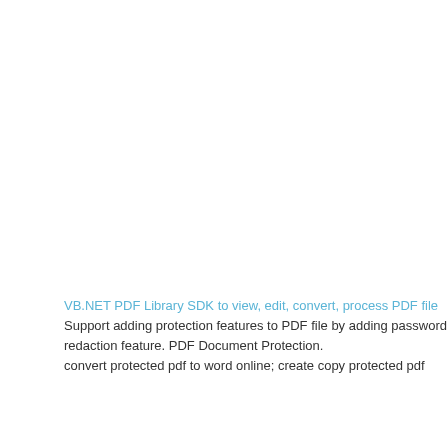2  Adjust the pape
3  Press a scanne the instructions
VB.NET PDF Library SDK to view, edit, convert, process PDF file
Support adding protection features to PDF file by adding password, digital signa redaction feature. PDF Document Protection.
convert protected pdf to word online; create copy protected pdf
scan two-sided docum
When you scan d box appears. Sel
The ADF is unab scan longer two-s a time. To change are you scanning
One-sided scann two-sided scanni Preferences. Clic to assign as the c